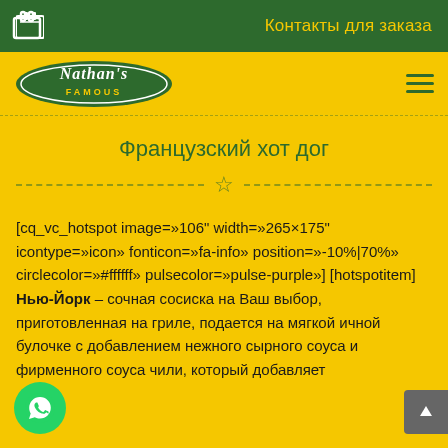Контакты для заказа
[Figure (logo): Nathan's Famous logo with cart icon and hamburger menu on yellow background]
Французский хот дог
[cq_vc_hotspot image=»106" width=»265×175" icontype=»icon» fonticon=»fa-info» position=»-10%|70%» circlecolor=»#ffffff» pulsecolor=»pulse-purple»] [hotspotitem] Нью-Йорк – сочная сосиска на Ваш выбор, приготовленная на гриле, подается на мягкой ичной булочке с добавлением нежного сырного соуса и фирменного соуса чили, который добавляет